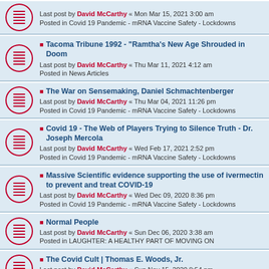Last post by David McCarthy « Mon Mar 15, 2021 3:00 am
Posted in Covid 19 Pandemic - mRNA Vaccine Safety - Lockdowns
Tacoma Tribune 1992 - "Ramtha's New Age Shrouded in Doom"
Last post by David McCarthy « Thu Mar 11, 2021 4:12 am
Posted in News Articles
The War on Sensemaking, Daniel Schmachtenberger
Last post by David McCarthy « Thu Mar 04, 2021 11:26 pm
Posted in Covid 19 Pandemic - mRNA Vaccine Safety - Lockdowns
Covid 19 - The Web of Players Trying to Silence Truth - Dr. Joseph Mercola
Last post by David McCarthy « Wed Feb 17, 2021 2:52 pm
Posted in Covid 19 Pandemic - mRNA Vaccine Safety - Lockdowns
Massive Scientific evidence supporting the use of ivermectin to prevent and treat COVID-19
Last post by David McCarthy « Wed Dec 09, 2020 8:36 pm
Posted in Covid 19 Pandemic - mRNA Vaccine Safety - Lockdowns
Normal People
Last post by David McCarthy « Sun Dec 06, 2020 3:38 am
Posted in LAUGHTER: A HEALTHY PART OF MOVING ON
The Covid Cult | Thomas E. Woods, Jr.
Last post by David McCarthy « Sun Nov 15, 2020 8:54 pm
Posted in Covid 19 Pandemic - mRNA Vaccine Safety - Lockdowns
The Tale of Two Competing NXIVM Documentaries - The Ringer -Interesting reviews
Last post by David McCarthy « Mon Nov 09, 2020 1:59 am
Posted in Keith Raniere - NXIVM